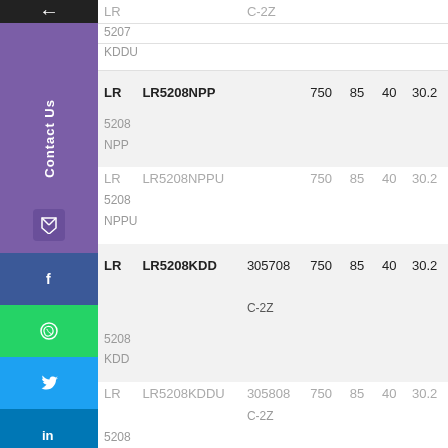| Brand | Model | Code | V1 | V2 | V3 | V4 |
| --- | --- | --- | --- | --- | --- | --- |
| LR | C-2Z |  |  |  |  |  |
| 5207 |  |  |  |  |  |  |
| KDDU |  |  |  |  |  |  |
| LR | LR5208NPP |  | 750 | 85 | 40 | 30.2 |
| 5208 |  |  |  |  |  |  |
| NPP |  |  |  |  |  |  |
| LR | LR5208NPPU |  | 750 | 85 | 40 | 30.2 |
| 5208 |  |  |  |  |  |  |
| NPPU |  |  |  |  |  |  |
| LR | LR5208KDD | 305708 C-2Z | 750 | 85 | 40 | 30.2 |
| 5208 |  |  |  |  |  |  |
| KDD |  |  |  |  |  |  |
| LR | LR5208KDDU | 305808 C-2Z | 750 | 85 | 40 | 30.2 |
| 5208 |  |  |  |  |  |  |
| KDDU |  |  |  |  |  |  |